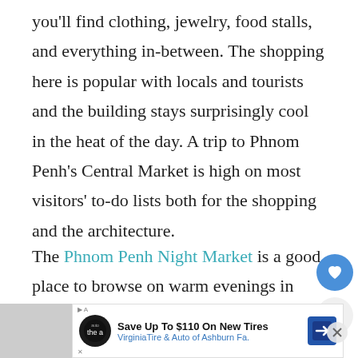you'll find clothing, jewelry, food stalls, and everything in-between. The shopping here is popular with locals and tourists and the building stays surprisingly cool in the heat of the day. A trip to Phnom Penh's Central Market is high on most visitors' to-do lists both for the shopping and the architecture.
The Phnom Penh Night Market is a good place to browse on warm evenings in Phnom Penh
[Figure (other): Advertisement banner: Save Up To $110 On New Tires — VirginiaTire & Auto of Ashburn Fa. with The Auto logo and a blue road sign arrow icon. Close button with X visible.]